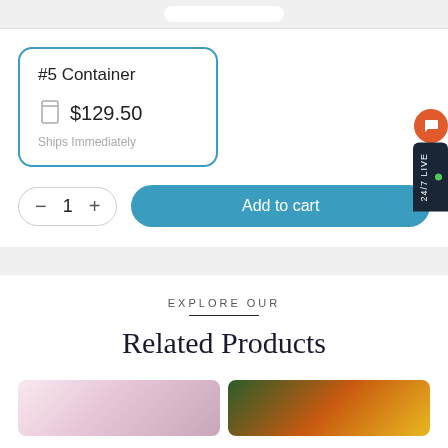#5 Container
$129.50
Ships Immediately
− 1 +
Add to cart
24/7 LIVE
EXPLORE OUR
Related Products
[Figure (photo): Two product thumbnail images side by side at bottom of page]
[Figure (photo): Colorful fruit/produce image thumbnail]